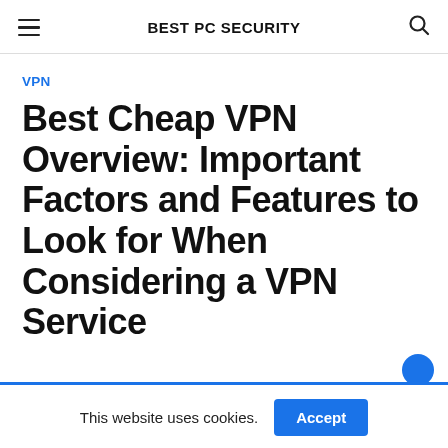BEST PC SECURITY
VPN
Best Cheap VPN Overview: Important Factors and Features to Look for When Considering a VPN Service
This website uses cookies.